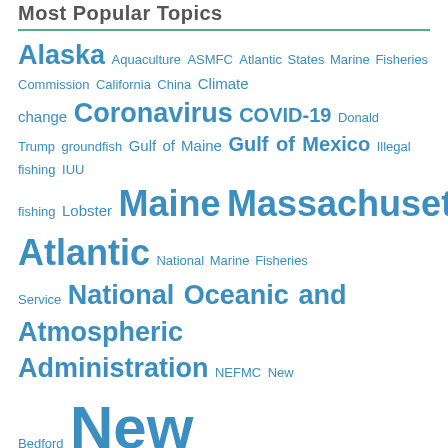Most Popular Topics
Alaska Aquaculture ASMFC Atlantic States Marine Fisheries Commission California China Climate change Coronavirus COVID-19 Donald Trump groundfish Gulf of Maine Gulf of Mexico Illegal fishing IUU fishing Lobster Maine Massachusetts Mid-Atlantic National Marine Fisheries Service National Oceanic and Atmospheric Administration NEFMC New Bedford New England New England Fishery Management Council New Jersey New York